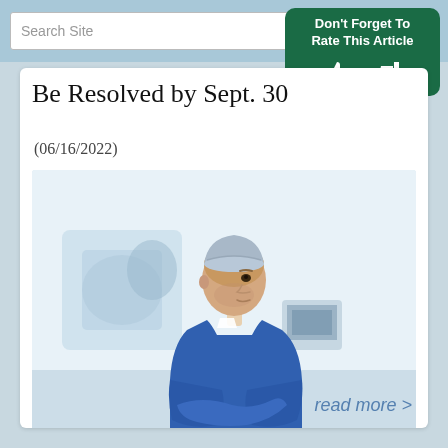Search Site
Be Resolved by Sept. 30
(06/16/2022)
[Figure (photo): Medical professional in blue scrubs and surgical cap standing with arms crossed in a clinical/operating room setting, viewed from the side]
read more >